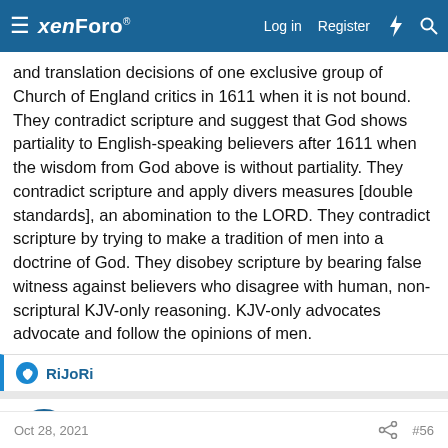xenForo  Log in  Register
and translation decisions of one exclusive group of Church of England critics in 1611 when it is not bound. They contradict scripture and suggest that God shows partiality to English-speaking believers after 1611 when the wisdom from God above is without partiality. They contradict scripture and apply divers measures [double standards], an abomination to the LORD. They contradict scripture by trying to make a tradition of men into a doctrine of God. They disobey scripture by bearing false witness against believers who disagree with human, non-scriptural KJV-only reasoning. KJV-only advocates advocate and follow the opinions of men.
👍 RiJoRi
logos1560
Well-known member
Oct 28, 2021   #56